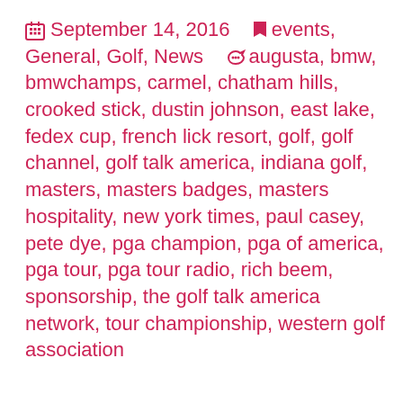September 14, 2016   events, General, Golf, News   augusta, bmw, bmwchamps, carmel, chatham hills, crooked stick, dustin johnson, east lake, fedex cup, french lick resort, golf, golf channel, golf talk america, indiana golf, masters, masters badges, masters hospitality, new york times, paul casey, pete dye, pga champion, pga of america, pga tour, pga tour radio, rich beem, sponsorship, the golf talk america network, tour championship, western golf association